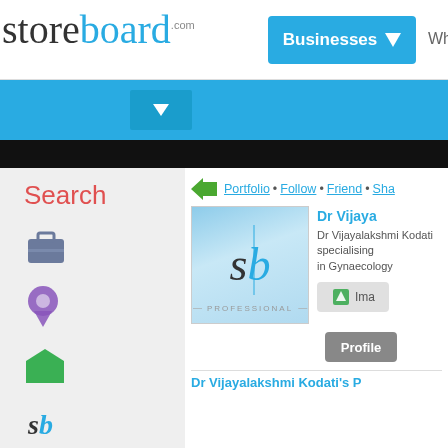storeboard.com — Businesses navigation bar
[Figure (logo): Storeboard.com logo with 'store' in dark gray serif and 'board' in blue serif, '.com' superscript]
[Figure (screenshot): Businesses dropdown button in cyan blue with white text and down arrow]
[Figure (screenshot): Blue navigation sub-bar with dropdown arrow button]
Search
[Figure (screenshot): Sidebar icons: briefcase, map pin, shield/pentagon, sb logo text, people/group icons]
[Figure (screenshot): Profile image placeholder: sb logo on blue gradient background with PROFESSIONAL label]
Dr Vijaya
Dr Vijayalakshmi Kodati specialising in Gynaecology
[Figure (screenshot): Ima button with green icon]
[Figure (screenshot): Profile grey button]
Dr Vijayalakshmi Kodati's P
Portfolio • Follow • Friend • Share navigation links with green back arrow